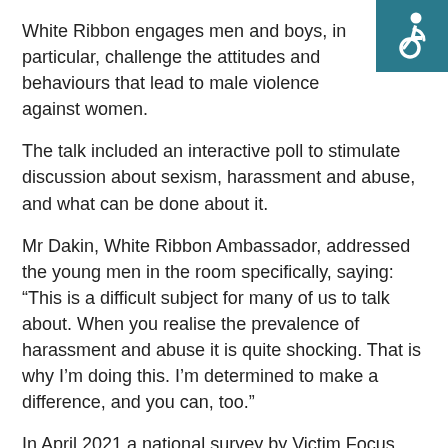White Ribbon engages men and boys, in particular, challenge the attitudes and behaviours that lead to male violence against women.
[Figure (illustration): Wheelchair accessibility symbol icon — white figure on teal/dark cyan background square]
The talk included an interactive poll to stimulate discussion about sexism, harassment and abuse, and what can be done about it.
Mr Dakin, White Ribbon Ambassador, addressed the young men in the room specifically, saying: “This is a difficult subject for many of us to talk about. When you realise the prevalence of harassment and abuse it is quite shocking. That is why I’m doing this. I’m determined to make a difference, and you can, too.”
In April 2021 a national survey by Victim Focus found 94 per cent of girls under 18 have been catcalled in the street by men. In Cheshire East, a 2021 survey of women found that over 90 per cent do not always feel safe on the streets.
The polls conducted at the school reflected similar